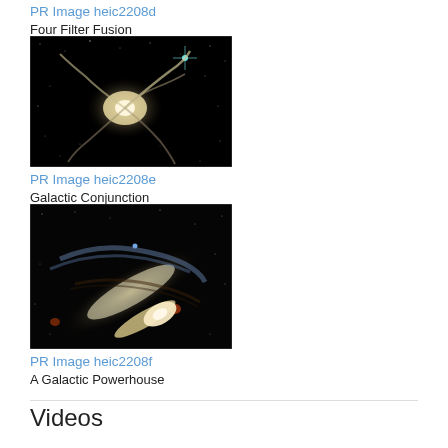PR Image heic2208d
Four Filter Fusion
[Figure (photo): Hubble Space Telescope image of a spiral galaxy against a dark star-filled background (PR Image heic2208d - Four Filter Fusion)]
PR Image heic2208e
Galactic Conjunction
[Figure (photo): Hubble Space Telescope image of a large oblique spiral galaxy with blue star-forming regions against dark background (PR Image heic2208f - A Galactic Powerhouse)]
PR Image heic2208f
A Galactic Powerhouse
Videos